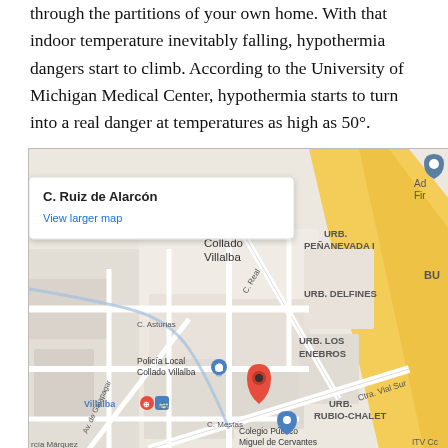through the partitions of your own home. With that indoor temperature inevitably falling, hypothermia dangers start to climb. According to the University of Michigan Medical Center, hypothermia starts to turn into a real danger at temperatures as high as 50°.
[Figure (map): Google Maps screenshot showing Collado Villalba area in Spain. Shows C. Ruiz de Alarcón with a red location pin, street names including C. Real, C. Asturias, C. Mestas, Av. de Galapagar, Ctra. Vial Sur. Neighborhoods labeled: URB. PEÑANEVADA I, URB. DELFINES, URB. LOS ENEBROS, URB. RUBIO-CHALET. Points of interest: Policía Local Collado Villalba, Colegio Público Miguel de Cervantes, Villalba transit marker, ITV Cc. Info popup shows 'C. Ruiz de Alarcón' and 'View larger map'.]